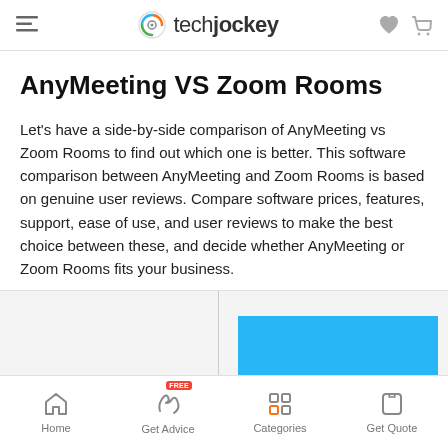techjockey
AnyMeeting VS Zoom Rooms
Let's have a side-by-side comparison of AnyMeeting vs Zoom Rooms to find out which one is better. This software comparison between AnyMeeting and Zoom Rooms is based on genuine user reviews. Compare software prices, features, support, ease of use, and user reviews to make the best choice between these, and decide whether AnyMeeting or Zoom Rooms fits your business.
[Figure (bar-chart): Partial bar chart visible at bottom of page showing a blue bar]
Home | Get Advice | Categories | Get Quote